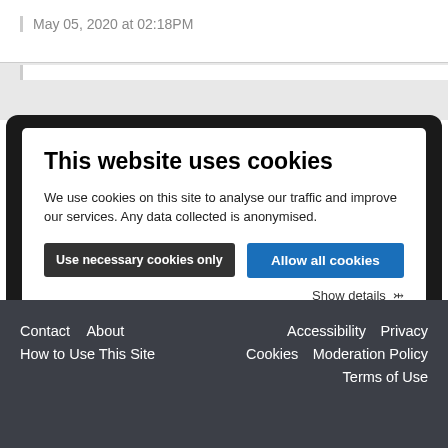May 05, 2020 at 02:18PM
[Figure (screenshot): Cookie consent modal overlay on a dark background showing 'This website uses cookies' title, descriptive text, two buttons ('Use necessary cookies only' and 'Allow all cookies'), and a 'Show details' link with dropdown arrow.]
This website uses cookies
We use cookies on this site to analyse our traffic and improve our services. Any data collected is anonymised.
Use necessary cookies only
Allow all cookies
Show details
Contact   About   Accessibility   Privacy   How to Use This Site   Cookies   Moderation Policy   Terms of Use